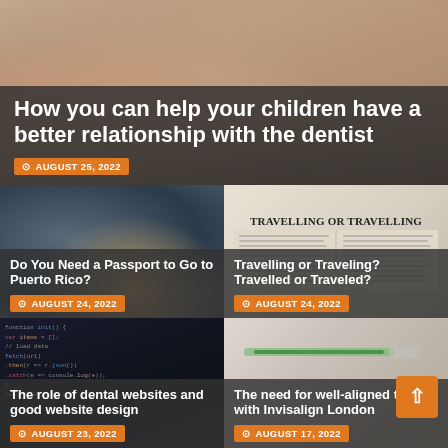[Figure (photo): Hero image: child at dentist, blurred background; large overlay with article title and date]
How you can help your children have a better relationship with the dentist
AUGUST 25, 2022
[Figure (photo): Person holding two passports; article about passport requirement for Puerto Rico]
Do You Need a Passport to Go to Puerto Rico?
AUGUST 24, 2022
[Figure (photo): Open dictionary showing 'TRAVELLING OR TRAVELLING' heading; article about spelling]
Travelling or Traveling? Travelled or Traveled?
AUGUST 24, 2022
[Figure (photo): Code on screen; article about dental websites and website design]
The role of dental websites and good website design
AUGUST 23, 2022
[Figure (photo): Dental/Invisalign related image; article about well-aligned teeth with Invisalign London]
The need for well-aligned teeth with Invisalign London
AUGUST 17, 2022